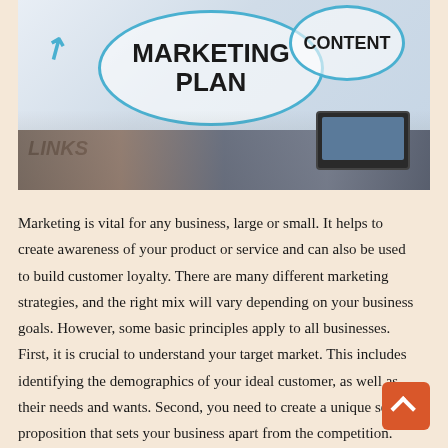[Figure (photo): A business team working around a table with a whiteboard showing 'MARKETING PLAN' in a large speech bubble, with other bubbles labeled 'CONTENT', 'LINKS', and 'E-MA[IL]'. Hands holding tablets and working on laptops are visible.]
Marketing is vital for any business, large or small. It helps to create awareness of your product or service and can also be used to build customer loyalty. There are many different marketing strategies, and the right mix will vary depending on your business goals. However, some basic principles apply to all businesses. First, it is crucial to understand your target market. This includes identifying the demographics of your ideal customer, as well as their needs and wants. Second, you need to create a unique selling proposition that sets your business apart from the competition. And third, you need to develop a comprehensive marketing plan that includes online and offline tactics. By following these essential steps, you can